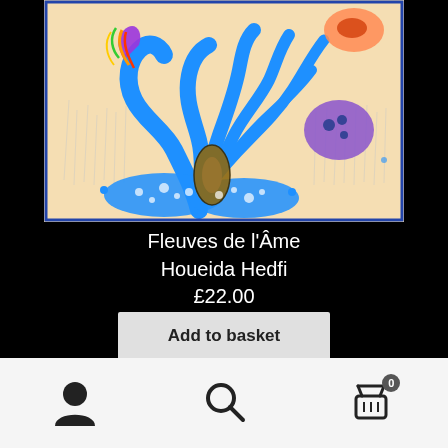[Figure (illustration): Colorful abstract artwork showing a blue tree-like form with fluid branches, multicolored decorative elements including birds, organic shapes with dots, on a beige/tan background]
Fleuves de l’Âme
Houeida Hedfi
£22.00
Add to basket
Navigation icons: user profile, search, basket (0)